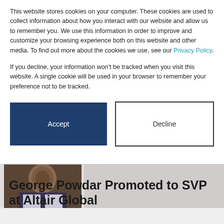This website stores cookies on your computer. These cookies are used to collect information about how you interact with our website and allow us to remember you. We use this information in order to improve and customize your browsing experience both on this website and other media. To find out more about the cookies we use, see our Privacy Policy.
If you decline, your information won't be tracked when you visit this website. A single cookie will be used in your browser to remember your preference not to be tracked.
Accept
Decline
[Figure (photo): Partial photograph of a person in a suit, cropped showing upper body and face]
George Powdar Promoted to SVP at Altair Global